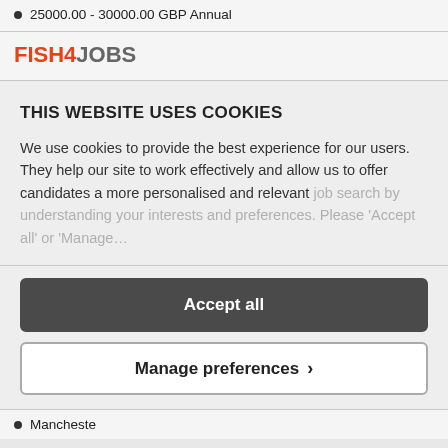25000.00 - 30000.00 GBP Annual
[Figure (logo): Fish4Jobs logo with FISH in red and JOBS in grey]
THIS WEBSITE USES COOKIES
We use cookies to provide the best experience for our users. They help our site to work effectively and allow us to offer candidates a more personalised and relevant job search by understanding your interests and preferences. Please 'Accept all' or 'Manage...
Accept all
Manage preferences >
Mancheste...